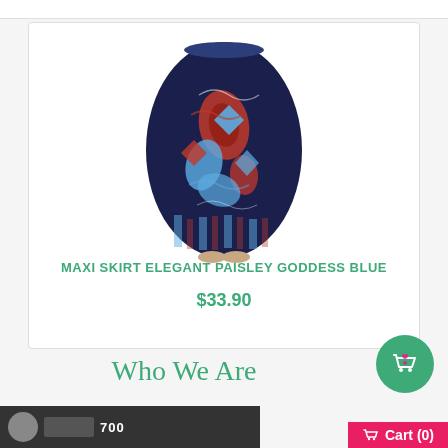[Figure (photo): Product photo of a maxi skirt with elegant blue paisley pattern, shown on a model from the side, dark navy background with red and blue paisley design.]
MAXI SKIRT ELEGANT PAISLEY GODDESS BLUE
$33.90
Who We Are
[Figure (screenshot): Bottom banner/advertisement strip partially visible at the bottom of the page, showing a dark background with logos and people.]
[Figure (illustration): Green circular shopping bag icon button with a heart, floating on the right side.]
Cart (0)